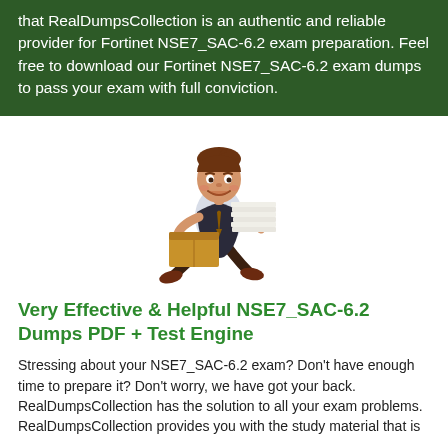that RealDumpsCollection is an authentic and reliable provider for Fortinet NSE7_SAC-6.2 exam preparation. Feel free to download our Fortinet NSE7_SAC-6.2 exam dumps to pass your exam with full conviction.
[Figure (illustration): Cartoon illustration of a smiling businessman running while carrying a large stack of documents/papers on top of a box]
Very Effective & Helpful NSE7_SAC-6.2 Dumps PDF + Test Engine
Stressing about your NSE7_SAC-6.2 exam? Don't have enough time to prepare it? Don't worry, we have got your back. RealDumpsCollection has the solution to all your exam problems. RealDumpsCollection provides you with the study material that is